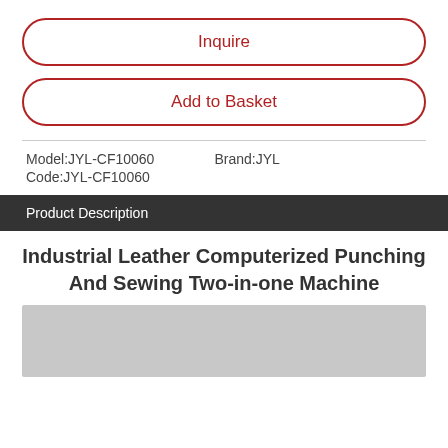Inquire
Add to Basket
Model:JYL-CF10060   Brand:JYL
Code:JYL-CF10060
Product Description
Industrial Leather Computerized Punching And Sewing Two-in-one Machine
[Figure (photo): Product image placeholder (light gray rectangle)]